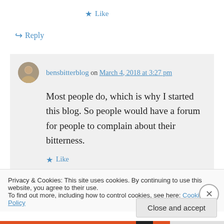★ Like
↪ Reply
bensbitterblog on March 4, 2018 at 3:27 pm
Most people do, which is why I started this blog. So people would have a forum for people to complain about their bitterness.
★ Like
Privacy & Cookies: This site uses cookies. By continuing to use this website, you agree to their use.
To find out more, including how to control cookies, see here: Cookie Policy
Close and accept